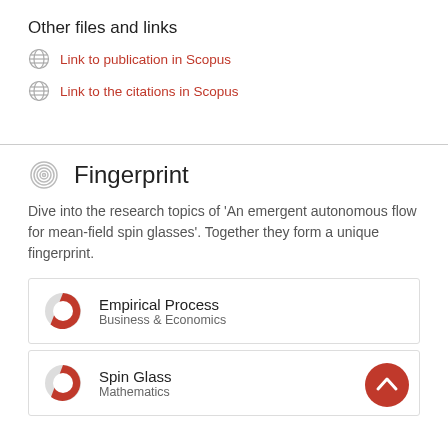Other files and links
Link to publication in Scopus
Link to the citations in Scopus
Fingerprint
Dive into the research topics of 'An emergent autonomous flow for mean-field spin glasses'. Together they form a unique fingerprint.
Empirical Process
Business & Economics
Spin Glass
Mathematics